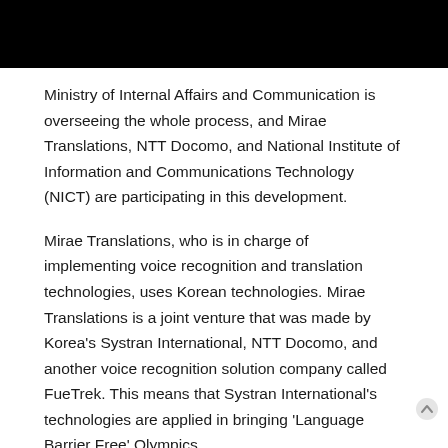Ministry of Internal Affairs and Communication is overseeing the whole process, and Mirae Translations, NTT Docomo, and National Institute of Information and Communications Technology (NICT) are participating in this development.
Mirae Translations, who is in charge of implementing voice recognition and translation technologies, uses Korean technologies. Mirae Translations is a joint venture that was made by Korea's Systran International, NTT Docomo, and another voice recognition solution company called FueTrek. This means that Systran International's technologies are applied in bringing 'Language Barrier Free' Olympics.